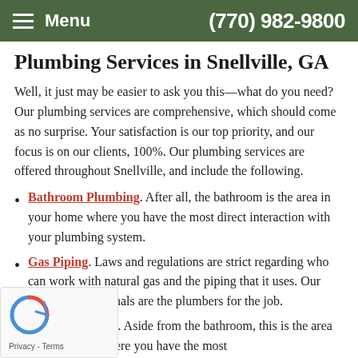Menu | (770) 982-9800
Plumbing Services in Snellville, GA
Well, it just may be easier to ask you this—what do you need? Our plumbing services are comprehensive, which should come as no surprise. Your satisfaction is our top priority, and our focus is on our clients, 100%. Our plumbing services are offered throughout Snellville, and include the following.
Bathroom Plumbing. After all, the bathroom is the area in your home where you have the most direct interaction with your plumbing system.
Gas Piping. Laws and regulations are strict regarding who can work with natural gas and the piping that it uses. Our service professionals are the plumbers for the job.
Kitchen Plumbing. Aside from the bathroom, this is the area in your home where you have the most